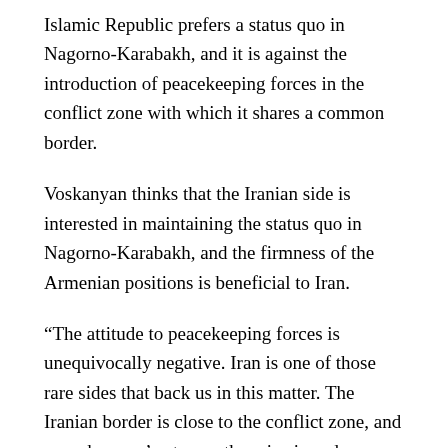Islamic Republic prefers a status quo in Nagorno-Karabakh, and it is against the introduction of peacekeeping forces in the conflict zone with which it shares a common border.
Voskanyan thinks that the Iranian side is interested in maintaining the status quo in Nagorno-Karabakh, and the firmness of the Armenian positions is beneficial to Iran.
“The attitude to peacekeeping forces is unequivocally negative. Iran is one of those rare sides that back us in this matter. The Iranian border is close to the conflict zone, and peacekeepers’ entrance there is viewed as a potential risk to the security and statehood of Iran. Iran cannot recognize Nagorno-Karabakh’s independence at the official level, but will do almost everything to prevent the transfer of any district of Karabakh to Azerbaijan,” Voskanyan told